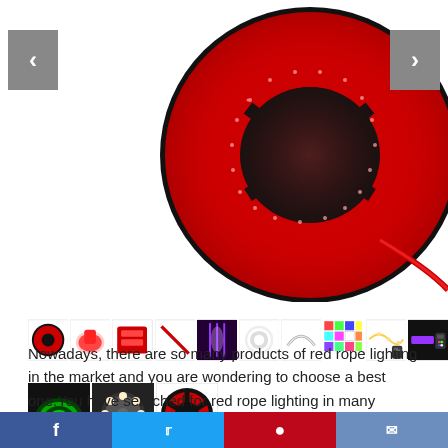[Figure (photo): Red LED rope light coiled into a large circular spool, glowing bright red, viewed from above on white background. Navigation arrows on left and right sides.]
[Figure (photo): Thumbnail strip showing multiple product images: red LED rope light spool, coiled red rope light, rope light close-up, diagonal strikethrough image, purple LED curtain, clear rope light, coiled clear rope, RGB color grid, warm white fairy lights with remote, purple LED strip with remote. Second row: green rope light coil, close-up of rope light tube cross-section, red rope light reel.]
Nowadays, there are so many products of red rope lighting in the market and you are wondering to choose a best one.You have searched for red rope lighting in many merchants.